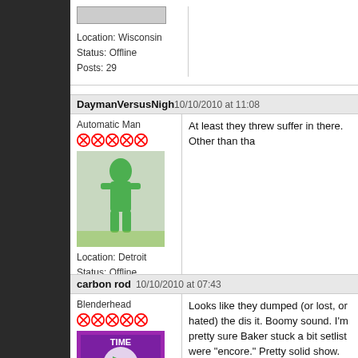Location: Wisconsin
Status: Offline
Posts: 29
DaymanVersusNigh 10/10/2010 at 11:08
Automatic Man
[Figure (photo): Avatar image: green humanoid figure walking]
Location: Detroit
Status: Offline
Posts: 451
At least they threw suffer in there. Other than tha
carbon rod 10/10/2010 at 07:43
Blenderhead
[Figure (photo): Avatar image: TIME magazine parody cover with fist]
Looks like they dumped (or lost, or hated) the dis it. Boomy sound. I'm pretty sure Baker stuck a bit setlist were "encore." Pretty solid show.